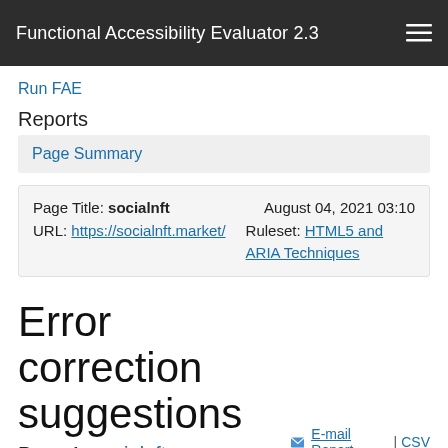Functional Accessibility Evaluator 2.3
Run FAE
Reports
Page Summary
Page Title: socialnft   August 04, 2021 03:10
URL: https://socialnft.market/   Ruleset: HTML5 and ARIA Techniques
Error correction suggestions
Page 1: socialnft